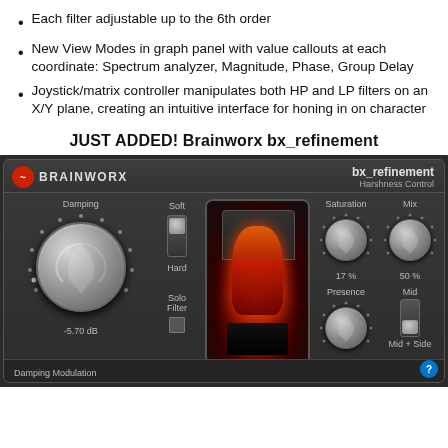Each filter adjustable up to the 6th order
New View Modes in graph panel with value callouts at each coordinate: Spectrum analyzer, Magnitude, Phase, Group Delay
Joystick/matrix controller manipulates both HP and LP filters on an X/Y plane, creating an intuitive interface for honing in on character
JUST ADDED! Brainworx bx_refinement
[Figure (screenshot): Brainworx bx_refinement plugin UI showing Damping knob at -5.70 dB, Soft/Hard toggle, Solo Filter checkbox, tube viewport glowing red, Saturation knob at 17%, Mix knob at 50%, Presence knob at +1.88 dB, Mid/Mid+Side toggle, and Damping Modulation label at bottom.]